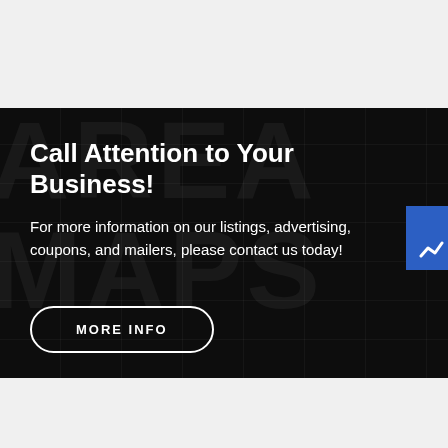Call Attention to Your Business!
For more information on our listings, advertising, coupons, and mailers, please contact us today!
MORE INFO